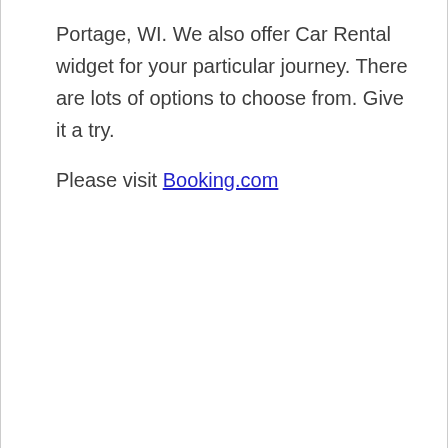Portage, WI. We also offer Car Rental widget for your particular journey. There are lots of options to choose from. Give it a try.
Please visit Booking.com